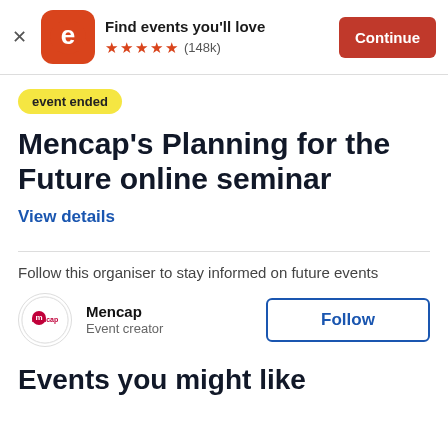[Figure (screenshot): Eventbrite app banner with orange logo showing stylized 'e', text 'Find events you'll love', five orange stars, rating '(148k)', and orange 'Continue' button]
event ended
Mencap's Planning for the Future online seminar
View details
Follow this organiser to stay informed on future events
[Figure (logo): Mencap logo - circular badge with 'mencap' text in pink/red]
Mencap
Event creator
Follow
Events you might like